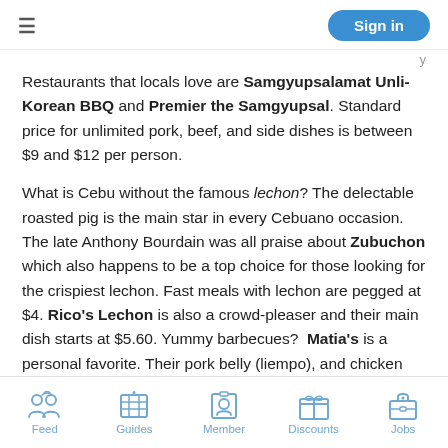≡  Sign in
Restaurants that locals love are Samgyupsalamat Unli-Korean BBQ and Premier the Samgyupsal. Standard price for unlimited pork, beef, and side dishes is between $9 and $12 per person.
What is Cebu without the famous lechon? The delectable roasted pig is the main star in every Cebuano occasion. The late Anthony Bourdain was all praise about Zubuchon which also happens to be a top choice for those looking for the crispiest lechon. Fast meals with lechon are pegged at $4. Rico's Lechon is also a crowd-pleaser and their main dish starts at $5.60. Yummy barbecues? Matia's is a personal favorite. Their pork belly (liempo), and chicken BBQ, fish, and
Feed  Guides  Member  Discounts  Jobs